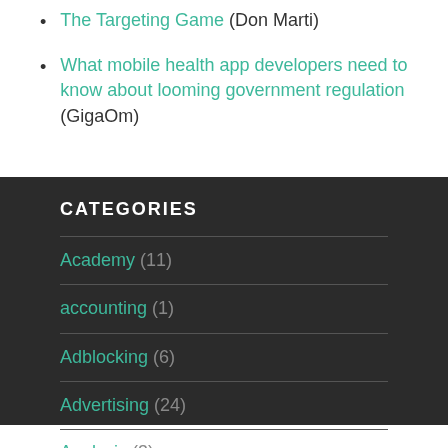The Targeting Game (Don Marti)
What mobile health app developers need to know about looming government regulation (GigaOm)
CATEGORIES
Academy (11)
accounting (1)
Adblocking (6)
Advertising (24)
Analysis (3)